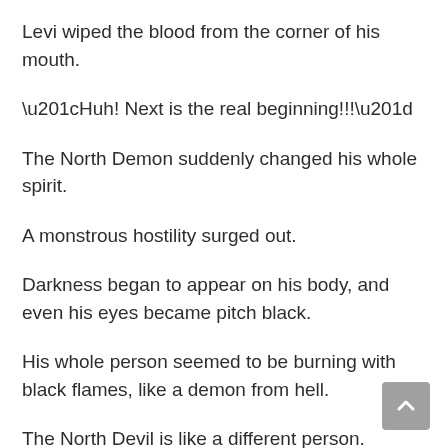Levi wiped the blood from the corner of his mouth.
“Huh! Next is the real beginning!!!”
The North Demon suddenly changed his whole spirit.
A monstrous hostility surged out.
Darkness began to appear on his body, and even his eyes became pitch black.
His whole person seemed to be burning with black flames, like a demon from hell.
The North Devil is like a different person.